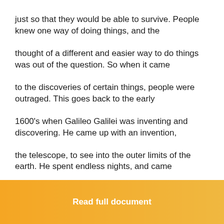just so that they would be able to survive. People knew one way of doing things, and the
thought of a different and easier way to do things was out of the question. So when it came
to the discoveries of certain things, people were outraged. This goes back to the early
1600's when Galileo Galilei was inventing and discovering. He came up with an invention,
the telescope, to see into the outer limits of the earth. He spent endless nights, and came
up with the conclusion that the moon was actually made up of craters, mountains, and jagged
surfaces. He announced to the public his discovery, and many people, including scientists
Read full document